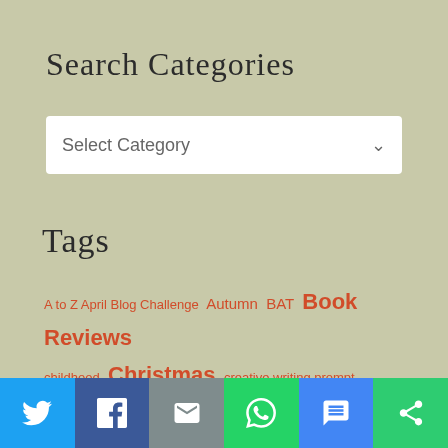Search Categories
Select Category
Tags
A to Z April Blog Challenge  Autumn  BAT  Book Reviews  childhood  Christmas  creative writing prompt  Dallas  Desserts  Eureka Springs  Fall  Fayetteville  Food  Gracie
[Figure (infographic): Social sharing bar with icons: Twitter (blue), Facebook (dark blue), Email (gray), WhatsApp (green), SMS (blue), More (green)]